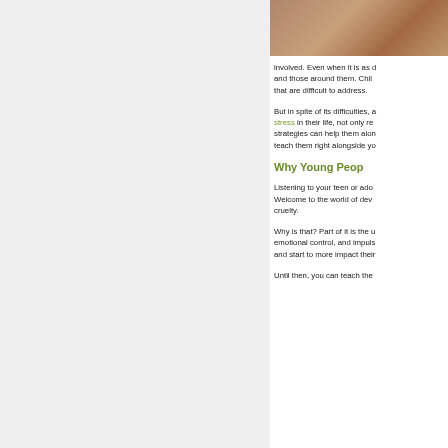[Figure (photo): Photo of people at a table, partially visible at top right of page]
involved. Even when it is as difficult as it can be for them and those around them. Children often present behaviors that are difficult to address.
But in spite of its difficulties, adolescents who have stress in their life, not only react better, but the same strategies can help them along the way. You can even teach them right alongside you.
Why Young Peop
Listening to your teen or ado... Welcome to the world of dev... cruelty.
Why is that? Part of it is the u... emotional control, and impuls... and start to more impact their
Until then, you can teach the